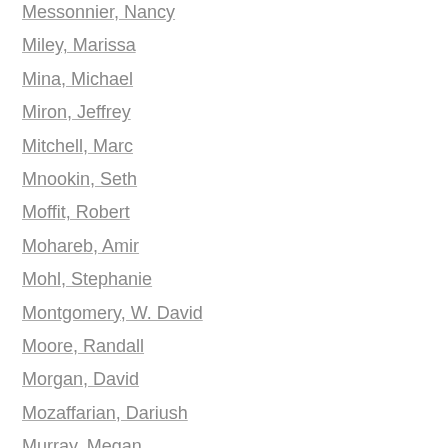Messonnier, Nancy
Miley, Marissa
Mina, Michael
Miron, Jeffrey
Mitchell, Marc
Mnookin, Seth
Moffit, Robert
Mohareb, Amir
Mohl, Stephanie
Montgomery, W. David
Moore, Randall
Morgan, David
Mozaffarian, Dariush
Murray, Megan
Myers, Pete
Mysko, Claire
Neel, Joe